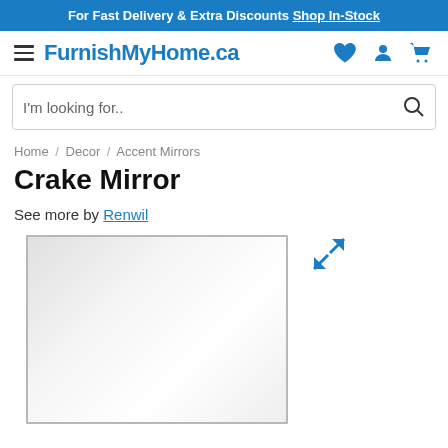For Fast Delivery & Extra Discounts Shop In-Stock
FurnishMyHome.ca
I'm looking for..
Home / Decor / Accent Mirrors
Crake Mirror
See more by Renwil
[Figure (photo): Product photo of the Crake Mirror — a rectangular frameless mirror with a thin silver/chrome beveled edge, displayed against a white background.]